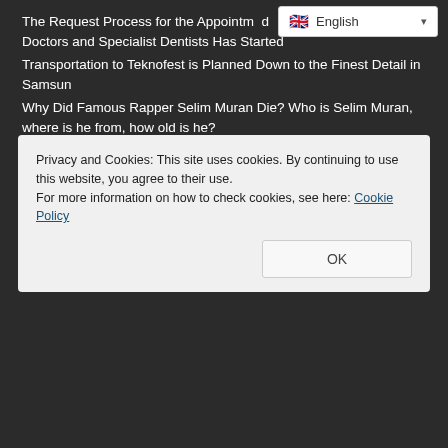The Request Process for the Appointment of Doctors and Specialist Dentists Has Started
Transportation to Teknofest is Planned Down to the Finest Detail in Samsun
Why Did Famous Rapper Selim Muran Die? Who is Selim Muran, where is he from, how old is he?
Ankara Afyonkarahisar Uşak İzmir High Speed Train Line to be Completed in 2025
What is the Importance of August 30 Victory Day? Where and when was it celebrated for the first time?
TCDD Communication Line 444 8 233
OUR SITES
Privacy and Cookies: This site uses cookies. By continuing to use this website, you agree to their use.
For more information on how to check cookies, see here: Cookie Policy
OK